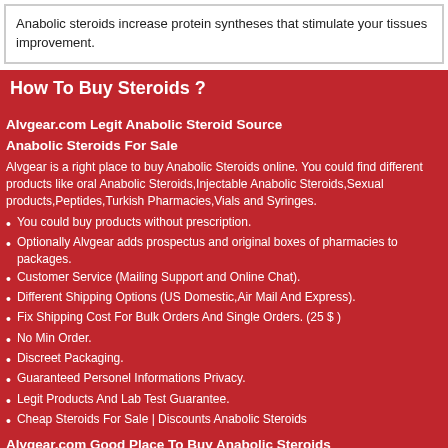Anabolic steroids increase protein syntheses that stimulate your tissues improvement.
How To Buy Steroids ?
Alvgear.com Legit Anabolic Steroid Source
Anabolic Steroids For Sale
Alvgear is a right place to buy Anabolic Steroids online. You could find different products like oral Anabolic Steroids,Injectable Anabolic Steroids,Sexual products,Peptides,Turkish Pharmacies,Vials and Syringes.
You could buy products without prescription.
Optionally Alvgear adds prospectus and original boxes of pharmacies to packages.
Customer Service (Mailing Support and Online Chat).
Different Shipping Options (US Domestic,Air Mail And Express).
Fix Shipping Cost For Bulk Orders And Single Orders. (25 $ )
No Min Order.
Discreet Packaging.
Guaranteed Personel Informations Privacy.
Legit Products And Lab Test Guarantee.
Cheap Steroids For Sale | Discounts Anabolic Steroids
Alvgear.com Good Place To Buy Anabolic Steroids
Information